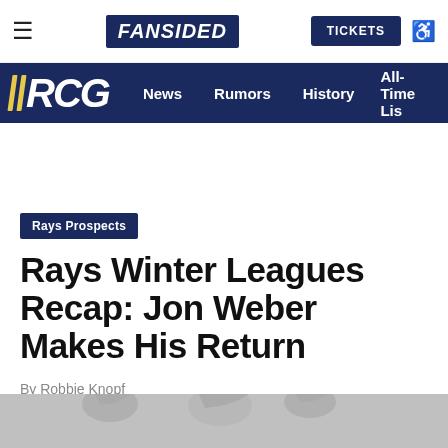FanSided | TICKETS
RCG | News | Rumors | History | All-Time Lis
Rays Prospects
Rays Winter Leagues Recap: Jon Weber Makes His Return
By Robbie Knopf
Dec 3, 2014
[Figure (illustration): Partial grayscale illustration at bottom of page showing silhouettes of baseball players]